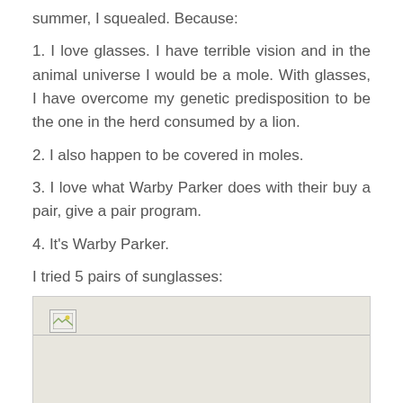summer, I squealed. Because:
1. I love glasses. I have terrible vision and in the animal universe I would be a mole. With glasses, I have overcome my genetic predisposition to be the one in the herd consumed by a lion.
2. I also happen to be covered in moles.
3. I love what Warby Parker does with their buy a pair, give a pair program.
4. It's Warby Parker.
I tried 5 pairs of sunglasses:
[Figure (photo): Image placeholder with broken image icon and caption 'Neville']